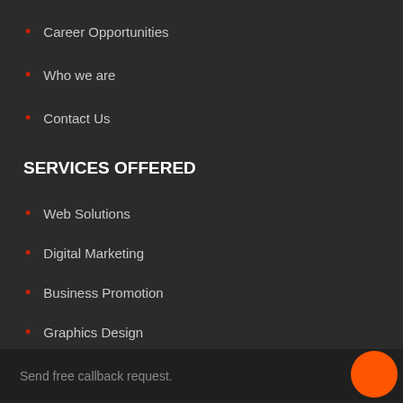Career Opportunities
Who we are
Contact Us
SERVICES OFFERED
Web Solutions
Digital Marketing
Business Promotion
Graphics Design
Help Service Support
GET CALL BACK JUST IN ONE CLICK
Send free callback request.